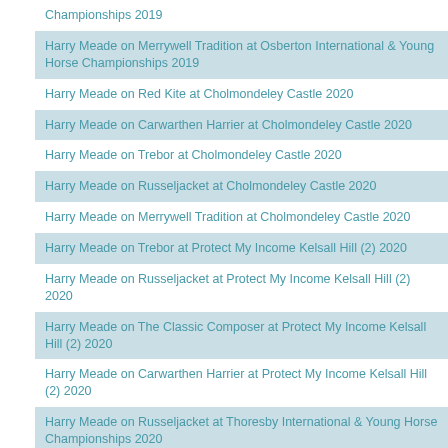Championships 2019
Harry Meade on Merrywell Tradition at Osberton International & Young Horse Championships 2019
Harry Meade on Red Kite at Cholmondeley Castle 2020
Harry Meade on Carwarthen Harrier at Cholmondeley Castle 2020
Harry Meade on Trebor at Cholmondeley Castle 2020
Harry Meade on Russeljacket at Cholmondeley Castle 2020
Harry Meade on Merrywell Tradition at Cholmondeley Castle 2020
Harry Meade on Trebor at Protect My Income Kelsall Hill (2) 2020
Harry Meade on Russeljacket at Protect My Income Kelsall Hill (2) 2020
Harry Meade on The Classic Composer at Protect My Income Kelsall Hill (2) 2020
Harry Meade on Carwarthen Harrier at Protect My Income Kelsall Hill (2) 2020
Harry Meade on Russeljacket at Thoresby International & Young Horse Championships 2020
Harry Meade on Carwarthen Harrier at Thoresby International & Young Horse Championships 2020
Harry Meade on Trebor at Thoresby International & Young Horse Championships 2020